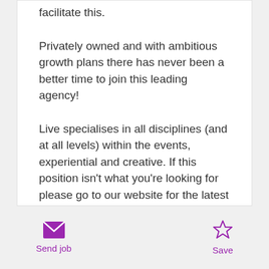facilitate this.
Privately owned and with ambitious growth plans there has never been a better time to join this leading agency!
Live specialises in all disciplines (and at all levels) within the events, experiential and creative. If this position isn't what you're looking for please go to our website for the latest vacancies and to register, or if you know someone who would be perfect for this position why not take advantage of our £350 referral
Send job | Save